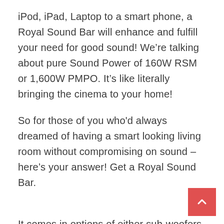iPod, iPad, Laptop to a smart phone, a Royal Sound Bar will enhance and fulfill your need for good sound! We're talking about pure Sound Power of 160W RSM or 1,600W PMPO. It's like literally bringing the cinema to your home!
So for those of you who'd always dreamed of having a smart looking living room without compromising on sound – here's your answer! Get a Royal Sound Bar.
It comes in options of either sub-woofers or built-in Sound Bars.
Improving on its predecessors in the game, the R... Sound Bar comes with a smart remote control, has